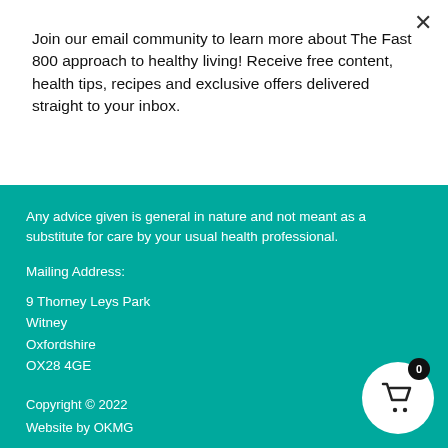Join our email community to learn more about The Fast 800 approach to healthy living! Receive free content, health tips, recipes and exclusive offers delivered straight to your inbox.
Subscribe
Any advice given is general in nature and not meant as a substitute for care by your usual health professional.
Mailing Address:
9 Thorney Leys Park
Witney
Oxfordshire
OX28 4GE
Copyright © 2022
Website by OKMG